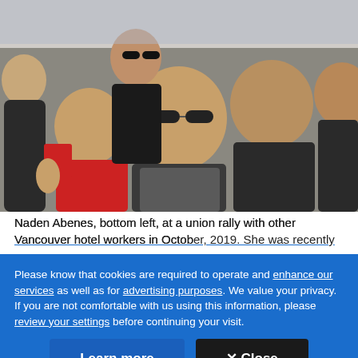[Figure (photo): Group of people smiling at a union rally, outdoors. Several women wearing dark jackets; one in the bottom left is giving a thumbs up and holding a red item; center person wears sunglasses and a scarf.]
Naden Abenes, bottom left, at a union rally with other Vancouver hotel workers in October 2019. She was recently
Please know that cookies are required to operate and enhance our services as well as for advertising purposes. We value your privacy. If you are not comfortable with us using this information, please review your settings before continuing your visit.
Learn more
✕ Close